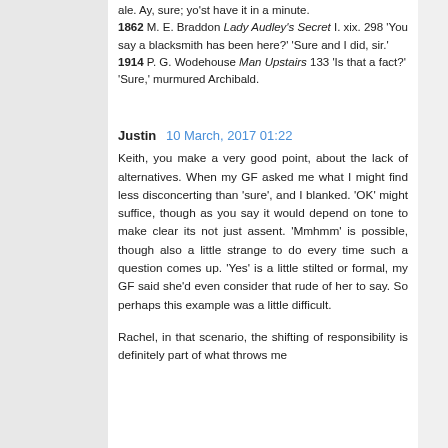ale. Ay, sure; yo'st have it in a minute. 1862 M. E. Braddon Lady Audley's Secret I. xix. 298 'You say a blacksmith has been here?' 'Sure and I did, sir.' 1914 P. G. Wodehouse Man Upstairs 133 'Is that a fact?' 'Sure,' murmured Archibald.
Justin  10 March, 2017 01:22
Keith, you make a very good point, about the lack of alternatives. When my GF asked me what I might find less disconcerting than 'sure', and I blanked. 'OK' might suffice, though as you say it would depend on tone to make clear its not just assent. 'Mmhmm' is possible, though also a little strange to do every time such a question comes up. 'Yes' is a little stilted or formal, my GF said she'd even consider that rude of her to say. So perhaps this example was a little difficult.
Rachel, in that scenario, the shifting of responsibility is definitely part of what throws me